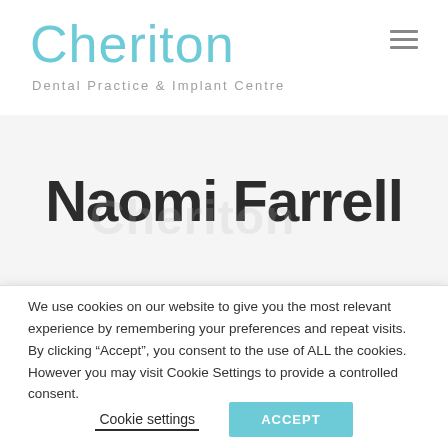Cheriton Dental Practice & Implant Centre
Naomi Farrell
We use cookies on our website to give you the most relevant experience by remembering your preferences and repeat visits. By clicking “Accept”, you consent to the use of ALL the cookies. However you may visit Cookie Settings to provide a controlled consent.
Cookie settings | ACCEPT